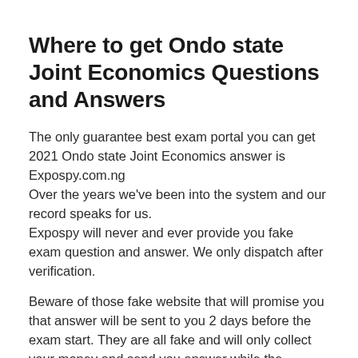Where to get Ondo state Joint Economics Questions and Answers
The only guarantee best exam portal you can get 2021 Ondo state Joint Economics answer is Expospy.com.ng
Over the years we've been into the system and our record speaks for us.
Expospy will never and ever provide you fake exam question and answer. We only dispatch after verification.
Beware of those fake website that will promise you that answer will be sent to you 2 days before the exam start. They are all fake and will only collect your money and send you answer while the examination is going-on.